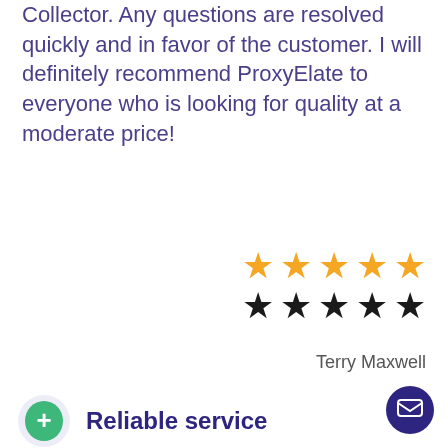Collector. Any questions are resolved quickly and in favor of the customer. I will definitely recommend ProxyElate to everyone who is looking for quality at a moderate price!
[Figure (other): Two rows of 5 stars each: top row in gold/yellow, bottom row in black. Rating display for a review.]
Terry Maxwell
Reliable service
I'm using the service since 2015, one of the best offers in the market of proxy server providers. Convenient payment methods, the possibility of full software automation. I only